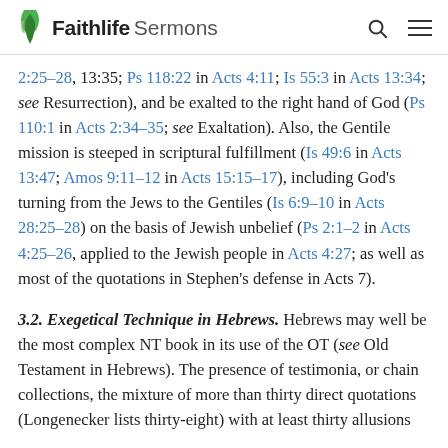Faithlife Sermons
2:25–28, 13:35; Ps 118:22 in Acts 4:11; Is 55:3 in Acts 13:34; see Resurrection), and be exalted to the right hand of God (Ps 110:1 in Acts 2:34–35; see Exaltation). Also, the Gentile mission is steeped in scriptural fulfillment (Is 49:6 in Acts 13:47; Amos 9:11–12 in Acts 15:15–17), including God's turning from the Jews to the Gentiles (Is 6:9–10 in Acts 28:25–28) on the basis of Jewish unbelief (Ps 2:1–2 in Acts 4:25–26, applied to the Jewish people in Acts 4:27; as well as most of the quotations in Stephen's defense in Acts 7).
3.2. Exegetical Technique in Hebrews. Hebrews may well be the most complex NT book in its use of the OT (see Old Testament in Hebrews). The presence of testimonia, or chain collections, the mixture of more than thirty direct quotations (Longenecker lists thirty-eight) with at least thirty allusions